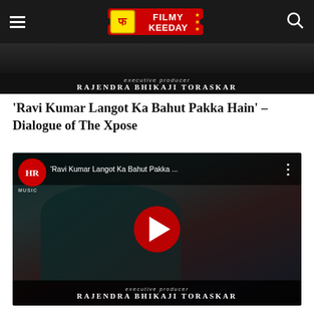Filmy Keeday - navigation header with hamburger menu, Filmy Keeday logo, and search icon
[Figure (screenshot): Top video strip showing executive producer credit: RAJENDRA BHIKAJI TORASKAR on dark background]
'Ravi Kumar Langot Ka Bahut Pakka Hain' – Dialogue of The Xpose
[Figure (screenshot): YouTube video thumbnail showing HR Music logo, video title 'Ravi Kumar Langot Ka Bahut Pakka ...' with menu dots, actor in foreground on dark background with red play button, bottom credits: executive producer RAJENDRA BHIKAJI TORASKAR]